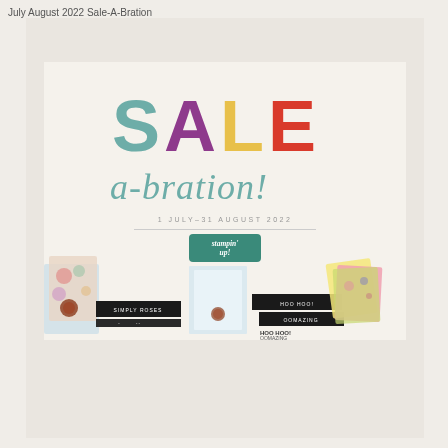July August 2022 Sale-A-Bration
[Figure (illustration): Sale-a-bration promotional banner for Stampin' Up! showing colorful SALE text with 'a-bration!' subtitle, dated 1 July - 31 August 2022, with craft products and floral papers at the bottom]